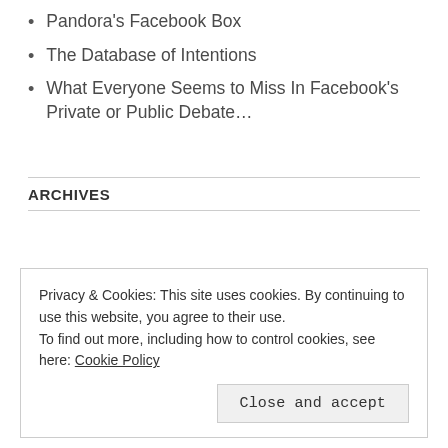Pandora's Facebook Box
The Database of Intentions
What Everyone Seems to Miss In Facebook's Private or Public Debate…
ARCHIVES
Privacy & Cookies: This site uses cookies. By continuing to use this website, you agree to their use.
To find out more, including how to control cookies, see here: Cookie Policy
Close and accept